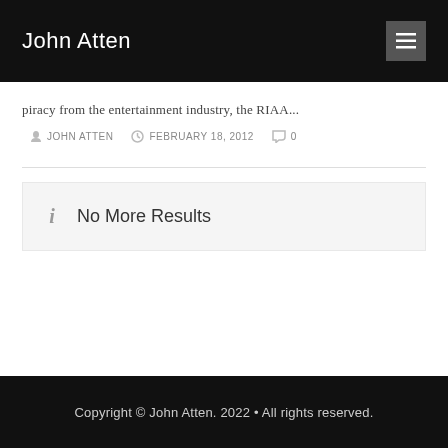John Atten
piracy from the entertainment industry, the RIAA...
JOHN ATTEN  FEBRUARY 18, 2012  0
No More Results
Copyright © John Atten. 2022 • All rights reserved.